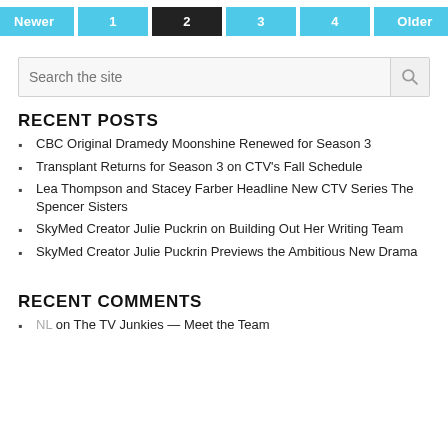[Figure (other): Pagination navigation bar with buttons: Newer, 1, 2 (active/dark), 3, 4, Older]
[Figure (other): Search bar with placeholder text 'Search the site' and a search icon]
RECENT POSTS
CBC Original Dramedy Moonshine Renewed for Season 3
Transplant Returns for Season 3 on CTV's Fall Schedule
Lea Thompson and Stacey Farber Headline New CTV Series The Spencer Sisters
SkyMed Creator Julie Puckrin on Building Out Her Writing Team
SkyMed Creator Julie Puckrin Previews the Ambitious New Drama
RECENT COMMENTS
NL on The TV Junkies — Meet the Team